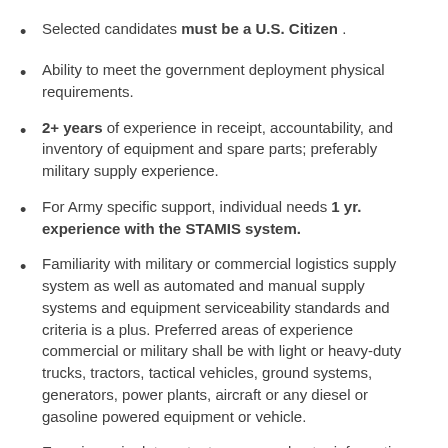Selected candidates must be a U.S. Citizen .
Ability to meet the government deployment physical requirements.
2+ years of experience in receipt, accountability, and inventory of equipment and spare parts; preferably military supply experience.
For Army specific support, individual needs 1 yr. experience with the STAMIS system.
Familiarity with military or commercial logistics supply system as well as automated and manual supply systems and equipment serviceability standards and criteria is a plus. Preferred areas of experience commercial or military shall be with light or heavy-duty trucks, tractors, tactical vehicles, ground systems, generators, power plants, aircraft or any diesel or gasoline powered equipment or vehicle.
Experience in data entry to query and enter information for supply, acquisition and inventory purposes, pull and stage equipment for shipment, package equipment for shipment and prepare the necessary paperwork, staging and shipping